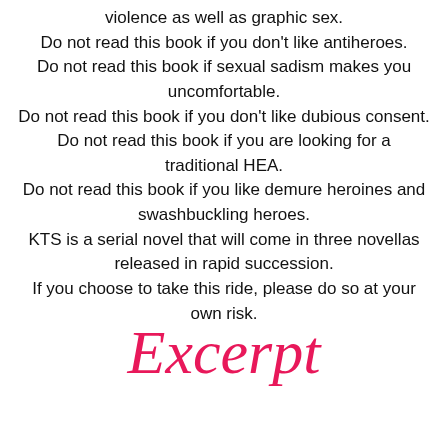violence as well as graphic sex.
Do not read this book if you don't like antiheroes.
Do not read this book if sexual sadism makes you uncomfortable.
Do not read this book if you don't like dubious consent.
Do not read this book if you are looking for a traditional HEA.
Do not read this book if you like demure heroines and swashbuckling heroes.
KTS is a serial novel that will come in three novellas released in rapid succession.
If you choose to take this ride, please do so at your own risk.
Excerpt